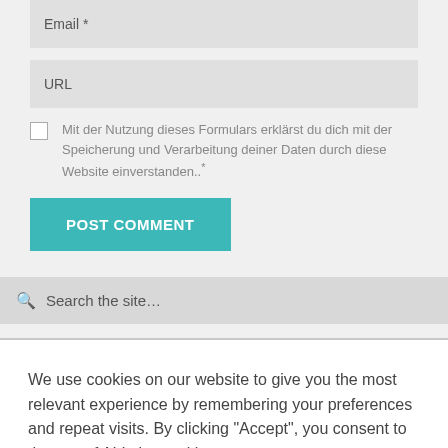Email *
URL
Mit der Nutzung dieses Formulars erklärst du dich mit der Speicherung und Verarbeitung deiner Daten durch diese Website einverstanden..*
POST COMMENT
Search the site…
We use cookies on our website to give you the most relevant experience by remembering your preferences and repeat visits. By clicking "Accept", you consent to the use of ALL the cookies.
Cookie settings
ACCEPT